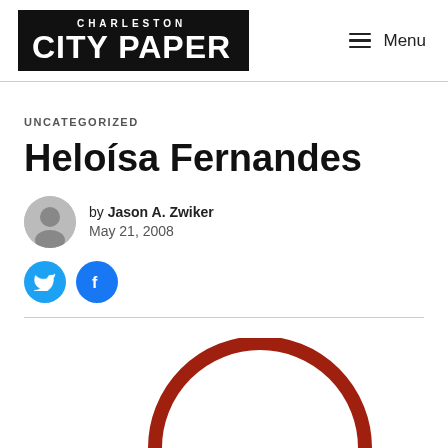CHARLESTON CITY PAPER | Menu
UNCATEGORIZED
Heloísa Fernandes
by Jason A. Zwiker
May 21, 2008
[Figure (illustration): Partial red circle arc visible at bottom of page]
[Figure (logo): Charleston City Paper logo - black rectangle with white text]